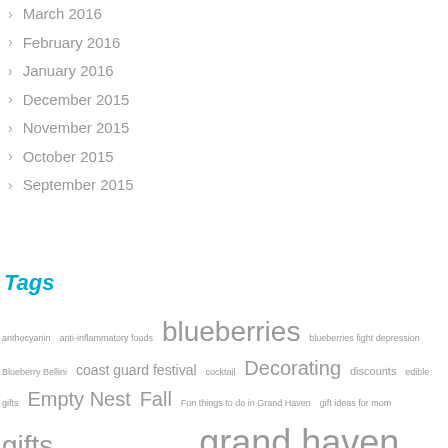March 2016
February 2016
January 2016
December 2015
November 2015
October 2015
September 2015
Tags
anthocyanin anti-inflammatory foods blueberries blueberries fight depression Blueberry Bellini coast guard festival cocktail Decorating discounts edible gifts Empty Nest Fall Fun things to do in Grand Haven gift ideas for mom gifts gifts from grand haven michigan grand haven Grand Haven Michigan happiness healing health health benefits of blueberries Holiday Recipes holidays Lake